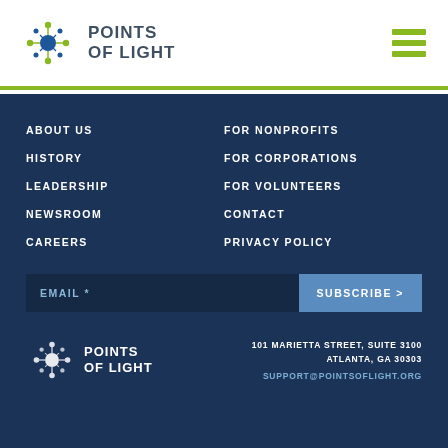[Figure (logo): Points of Light logo with star/dot icon and bold text 'POINTS OF LIGHT' in header]
[Figure (other): Green hamburger menu icon (three horizontal bars) in top right corner]
ABOUT US
FOR NONPROFITS
HISTORY
FOR CORPORATIONS
LEADERSHIP
FOR VOLUNTEERS
NEWSROOM
CONTACT
CAREERS
PRIVACY POLICY
EMAIL *
SUBSCRIBE >
[Figure (logo): Points of Light white logo in footer with star/dot icon]
101 MARIETTA STREET, SUITE 3100
ATLANTA, GA 30303
SUPPORT@POINTSOFLIGHT.ORG